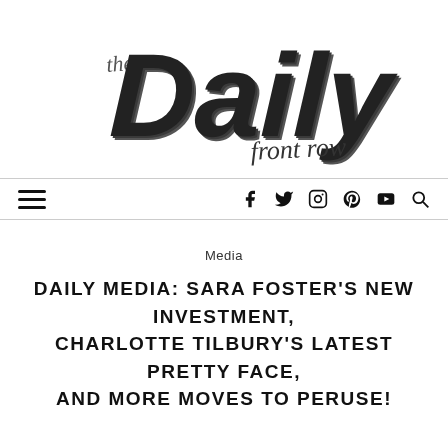[Figure (logo): The Daily Front Row logo — large bold italic 'Daily' text with 'the' in script above and 'front row' in script script below-right, dark charcoal/black tones]
≡   f  🐦  📷   pinterest  ▶  🔍
Media
DAILY MEDIA: SARA FOSTER'S NEW INVESTMENT, CHARLOTTE TILBURY'S LATEST PRETTY FACE, AND MORE MOVES TO PERUSE!